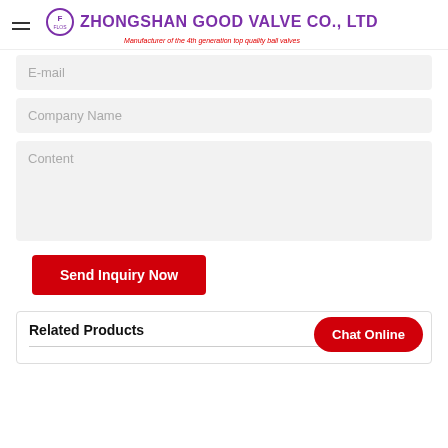ZHONGSHAN GOOD VALVE CO., LTD — Manufacturer of the 4th generation top quality ball valves
E-mail
Company Name
Content
Send Inquiry Now
Related Products
Chat Online